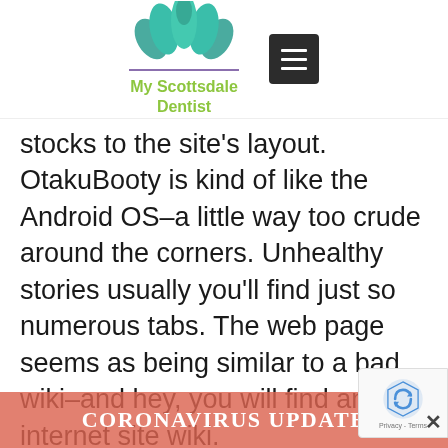My Scottsdale Dentist
stocks to the site's layout. OtakuBooty is kind of like the Android OS–a little way too crude around the corners. Unhealthy stories usually you'll find just so numerous tabs. The web page seems as being similar to a bad wiki–and hey, you will find an internet site wiki.
As for the forms of owners you will find, better, these are positively nerds. And t
[Figure (other): CORONAVIRUS UPDATE banner overlay at bottom of page]
[Figure (other): reCAPTCHA badge on right side with Privacy - Terms close button]